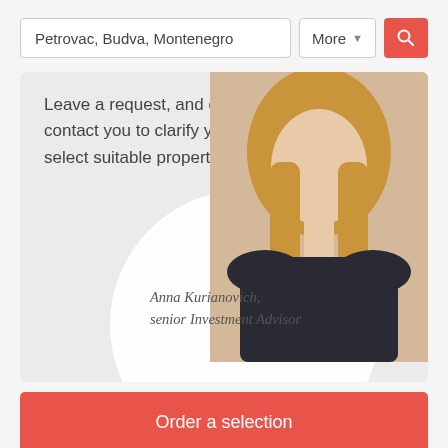Petrovac, Budva, Montenegro
More
Leave a request, and our expert will contact you to clarify your enquiry and select suitable properties.
[Figure (photo): Portrait photo of a blonde woman in a dark top, with a circular white overlay containing advisor name and title]
Anna Kurianovich, senior Investment Advisor
Order a selection